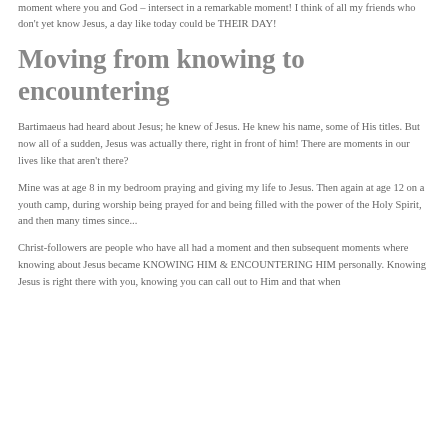moment where you and God – intersect in a remarkable moment! I think of all my friends who don't yet know Jesus, a day like today could be THEIR DAY!
Moving from knowing to encountering
Bartimaeus had heard about Jesus; he knew of Jesus. He knew his name, some of His titles. But now all of a sudden, Jesus was actually there, right in front of him! There are moments in our lives like that aren't there?
Mine was at age 8 in my bedroom praying and giving my life to Jesus. Then again at age 12 on a youth camp, during worship being prayed for and being filled with the power of the Holy Spirit, and then many times since...
Christ-followers are people who have all had a moment and then subsequent moments where knowing about Jesus became KNOWING HIM & ENCOUNTERING HIM personally. Knowing Jesus is right there with you, knowing you can call out to Him and that when you do He will answer you personally.